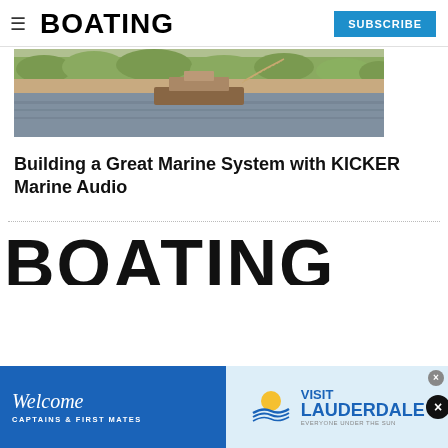BOATING | SUBSCRIBE
[Figure (photo): Aerial or water-level photo of a boat on a river or waterway, showing the vessel, sandy banks, and green treeline in the background.]
Building a Great Marine System with KICKER Marine Audio
[Figure (other): Large bold 'BOATING' text displayed as a watermark or section header at the bottom of the page, partially visible]
[Figure (other): Advertisement banner: left side blue background with 'Welcome CAPTAINS & FIRST MATES', right side 'VISIT LAUDERDALE EVERYONE UNDER THE SUN' with sun/water logo. Close button (X) on right.]